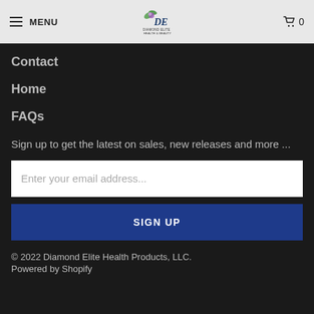MENU | DE Diamond Elite Health & Beauty | 0
Contact
Home
FAQs
Sign up to get the latest on sales, new releases and more ...
Enter your email address...
SIGN UP
© 2022 Diamond Elite Health Products, LLC.
Powered by Shopify